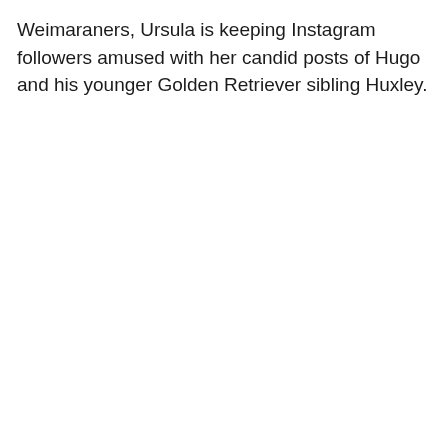Weimaraners, Ursula is keeping Instagram followers amused with her candid posts of Hugo and his younger Golden Retriever sibling Huxley.